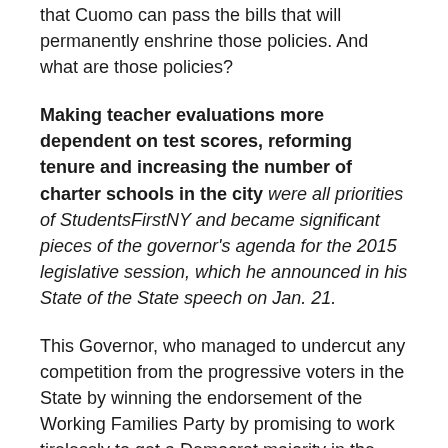that Cuomo can pass the bills that will permanently enshrine those policies. And what are those policies?
Making teacher evaluations more dependent on test scores, reforming tenure and increasing the number of charter schools in the city were all priorities of StudentsFirstNY and became significant pieces of the governor's agenda for the 2015 legislative session, which he announced in his State of the State speech on Jan. 21.
This Governor, who managed to undercut any competition from the progressive voters in the State by winning the endorsement of the Working Families Party by promising to work tirelessly to get a Democrat majority in the Senate, acted to implement an education agenda from a group that was working twice as hard (and spending millions of dollars) to accomplish the OPPOSITE goal. From here, it